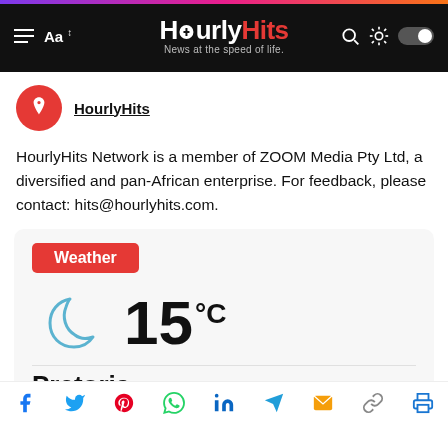HourlyHits — News at the speed of life.
HourlyHits
HourlyHits Network is a member of ZOOM Media Pty Ltd, a diversified and pan-African enterprise. For feedback, please contact: hits@hourlyhits.com.
[Figure (infographic): Weather widget showing 15°C with a crescent moon icon for Pretoria, with high 16° and low 12°, wind 2 km/h]
[Figure (infographic): Social share bar with Facebook, Twitter, Pinterest, WhatsApp, LinkedIn, Telegram, Email, Link, Print icons]